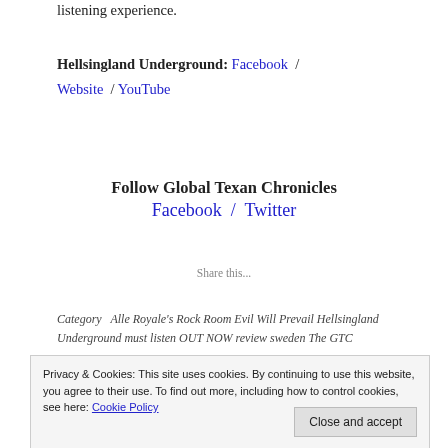listening experience.
Hellsingland Underground: Facebook / Website / YouTube
Follow Global Texan Chronicles
Facebook / Twitter
Share this...
Category   Alle Royale's Rock Room Evil Will Prevail Hellsingland Underground must listen OUT NOW review sweden The GTC
Privacy & Cookies: This site uses cookies. By continuing to use this website, you agree to their use. To find out more, including how to control cookies, see here: Cookie Policy